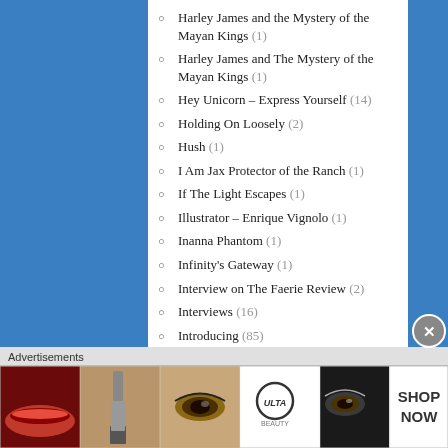Harley James and the Mystery of the Mayan Kings (1)
Harley James and The Mystery of the Mayan Kings (1)
Hey Unicorn – Express Yourself (14)
Holding On Loosely (2)
Hush (1)
I Am Jax Protector of the Ranch (1)
If The Light Escapes (1)
Illustrator – Enrique Vignolo (1)
Inanna Phantom (1)
Infinity's Gateway (1)
Interview on The Faerie Review (2)
Interviews (16)
Introducing (85)
Introducing A Ride To Save The Earth by Lilian Ruach (1)
Advertisements
[Figure (photo): Advertisement banner showing beauty/makeup products (Ulta Beauty) with lips, brush, eye makeup images and SHOP NOW text]